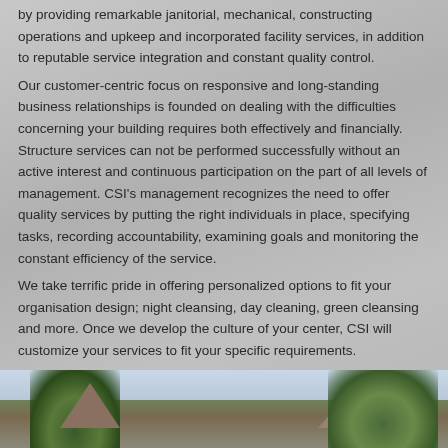by providing remarkable janitorial, mechanical, constructing operations and upkeep and incorporated facility services, in addition to reputable service integration and constant quality control.
Our customer-centric focus on responsive and long-standing business relationships is founded on dealing with the difficulties concerning your building requires both effectively and financially. Structure services can not be performed successfully without an active interest and continuous participation on the part of all levels of management. CSI's management recognizes the need to offer quality services by putting the right individuals in place, specifying tasks, recording accountability, examining goals and monitoring the constant efficiency of the service.
We take terrific pride in offering personalized options to fit your organisation design; night cleansing, day cleaning, green cleansing and more. Once we develop the culture of your center, CSI will customize your services to fit your specific requirements.
[Figure (photo): Outdoor photo showing trees and building rooftops]